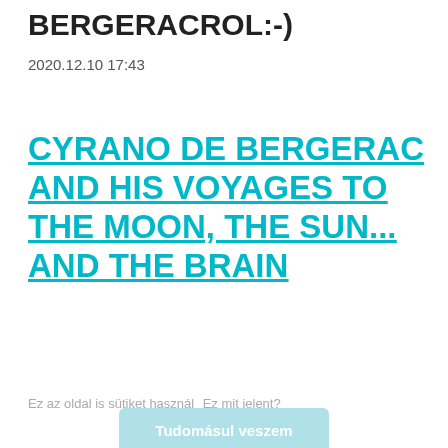BERGERACROL:-)
2020.12.10 17:43
CYRANO DE BERGERAC AND HIS VOYAGES TO THE MOON, THE SUN... AND THE BRAIN
Ez az oldal is sütiket használ  Ez mit jelent?
Tudomásul veszem